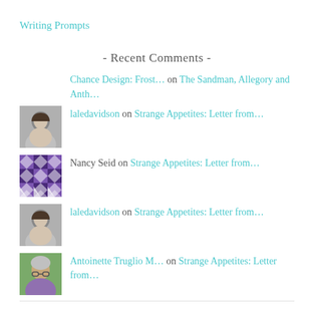Writing Prompts
- Recent Comments -
Chance Design: Frost… on The Sandman, Allegory and Anth…
laledavidson on Strange Appetites: Letter from…
Nancy Seid on Strange Appetites: Letter from…
laledavidson on Strange Appetites: Letter from…
Antoinette Truglio M… on Strange Appetites: Letter from…